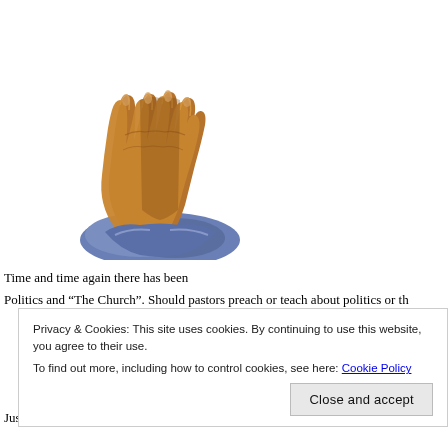[Figure (illustration): Illustration of praying hands, brown-skinned, clasped together with blue cloth at the wrists, pointing upward.]
Time and time again there has been... Politics and "The Church". Should pastors preach or teach about politics or th...
Privacy & Cookies: This site uses cookies. By continuing to use this website, you agree to their use.
To find out more, including how to control cookies, see here: Cookie Policy
Close and accept
Just think about how this goes in your regular Church, have you ever sense